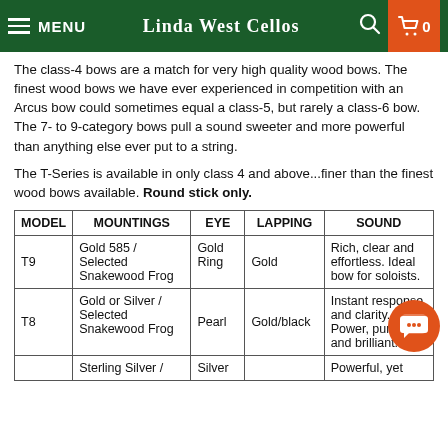MENU  LINDA WEST CELLOS  0
The class-4 bows are a match for very high quality wood bows. The finest wood bows we have ever experienced in competition with an Arcus bow could sometimes equal a class-5, but rarely a class-6 bow. The 7- to 9-category bows pull a sound sweeter and more powerful than anything else ever put to a string.
The T-Series is available in only class 4 and above...finer than the finest wood bows available. Round stick only.
| MODEL | MOUNTINGS | EYE | LAPPING | SOUND |
| --- | --- | --- | --- | --- |
| T9 | Gold 585 / Selected Snakewood Frog | Gold Ring | Gold | Rich, clear and effortless. Ideal bow for soloists. |
| T8 | Gold or Silver / Selected Snakewood Frog | Pearl | Gold/black | Instant response and clarity. Power, pure, rich and brilliant. |
|  | Sterling Silver / | Silver |  | Powerful, yet |